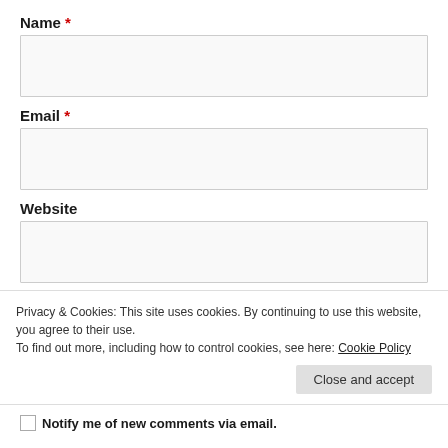Name *
Email *
Website
Privacy & Cookies: This site uses cookies. By continuing to use this website, you agree to their use.
To find out more, including how to control cookies, see here: Cookie Policy
Close and accept
Notify me of new comments via email.